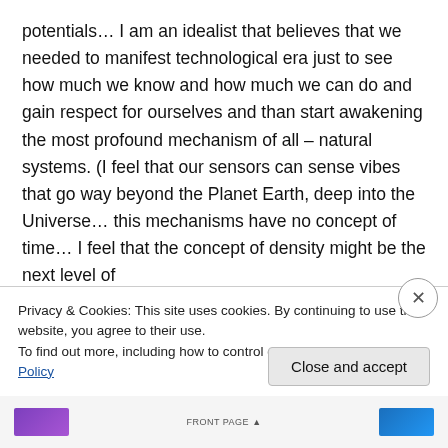potentials… I am an idealist that believes that we needed to manifest technological era just to see how much we know and how much we can do and gain respect for ourselves and than start awakening the most profound mechanism of all – natural systems. (I feel that our sensors can sense vibes that go way beyond the Planet Earth, deep into the Universe… this mechanisms have no concept of time… I feel that the concept of density might be the next level of understanding why and how we sense the flow of
Privacy & Cookies: This site uses cookies. By continuing to use this website, you agree to their use.
To find out more, including how to control cookies, see here: Cookie Policy